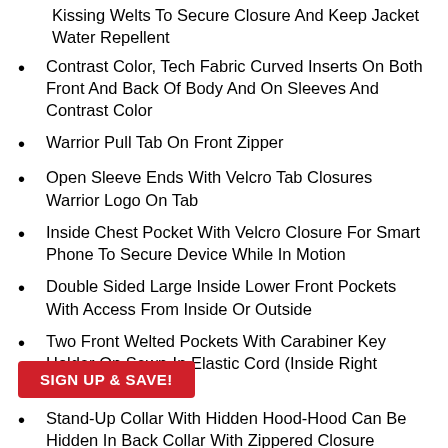Kissing Welts To Secure Closure And Keep Jacket Water Repellent
Contrast Color, Tech Fabric Curved Inserts On Both Front And Back Of Body And On Sleeves And Contrast Color
Warrior Pull Tab On Front Zipper
Open Sleeve Ends With Velcro Tab Closures Warrior Logo On Tab
Inside Chest Pocket With Velcro Closure For Smart Phone To Secure Device While In Motion
Double Sided Large Inside Lower Front Pockets With Access From Inside Or Outside
Two Front Welted Pockets With Carabiner Key Holder On Sewn-In Elastic Cord (Inside Right Pocket)
Stand-Up Collar With Hidden Hood-Hood Can Be Hidden In Back Collar With Zippered Closure
Open Hemmed Bottom With Adjustable Elastic Draw Cord Front Pocket
Internal Bottom Zipper For Decoration Access